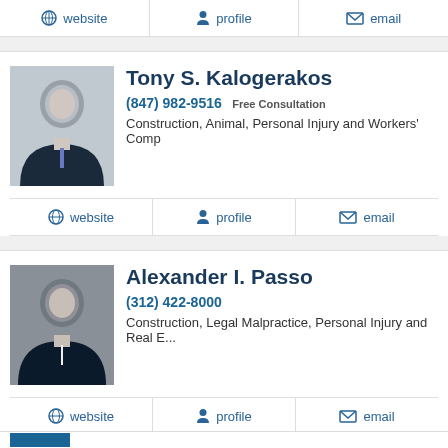website | profile | email
[Figure (photo): Professional headshot of Tony S. Kalogerakos in a suit]
Tony S. Kalogerakos
(847) 982-9516 Free Consultation
Construction, Animal, Personal Injury and Workers' Comp
website | profile | email
[Figure (photo): Professional headshot of Alexander I. Passo in a suit]
Alexander I. Passo
(312) 422-8000
Construction, Legal Malpractice, Personal Injury and Real E...
website | profile | email